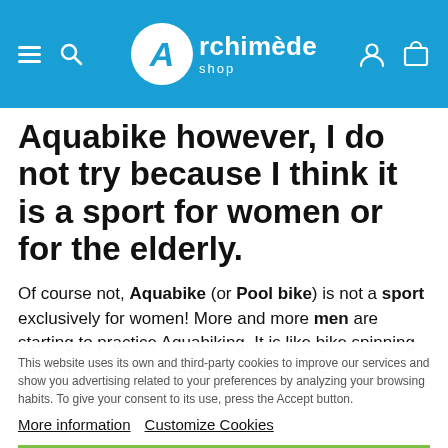Archimède shop
Aquabike however, I do not try because I think it is a sport for women or for the elderly.
Of course not, Aquabike (or Pool bike) is not a sport exclusively for women! More and more men are starting to practice Aquabiking. It is like bike spinning but with additional resistance through the water density. Additional exercises...
This website uses its own and third-party cookies to improve our services and show you advertising related to your preferences by analyzing your browsing habits. To give your consent to its use, press the Accept button.
More information  Customize Cookies
REJECT ALL
I ACCEPT